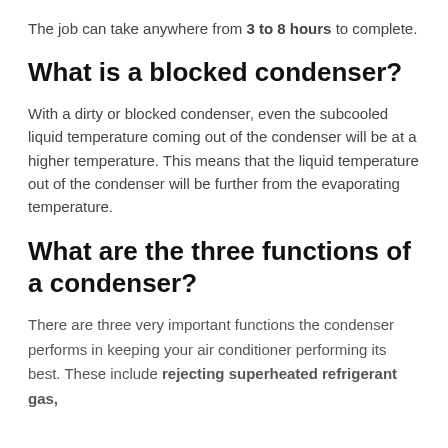The job can take anywhere from 3 to 8 hours to complete.
What is a blocked condenser?
With a dirty or blocked condenser, even the subcooled liquid temperature coming out of the condenser will be at a higher temperature. This means that the liquid temperature out of the condenser will be further from the evaporating temperature.
What are the three functions of a condenser?
There are three very important functions the condenser performs in keeping your air conditioner performing its best. These include rejecting superheated refrigerant gas,